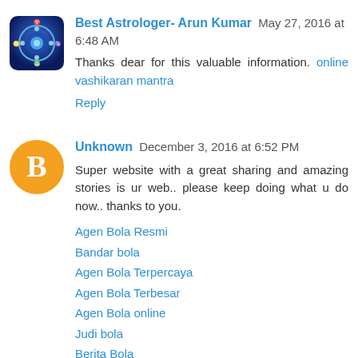[Figure (illustration): Avatar icon for Best Astrologer- Arun Kumar: circular blue astrology/zodiac icon]
Best Astrologer- Arun Kumar May 27, 2016 at 6:48 AM
Thanks dear for this valuable information. online vashikaran mantra
Reply
[Figure (illustration): Default avatar icon for Unknown: orange circle with white blogger 'B' icon]
Unknown December 3, 2016 at 6:52 PM
Super website with a great sharing and amazing stories is ur web.. please keep doing what u do now.. thanks to you.
Agen Bola Resmi
Bandar bola
Agen Bola Terpercaya
Agen Bola Terbesar
Agen Bola online
Judi bola
Berita Bola
Agen Sbobet
Agen Ibcbet
Reply